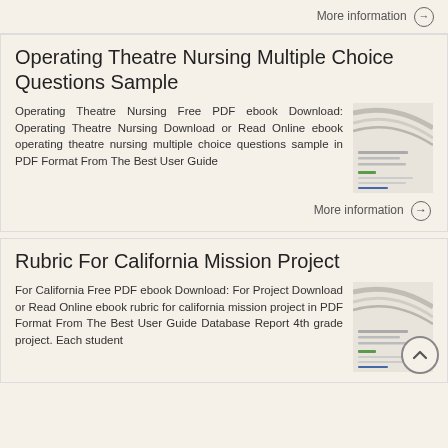More information →
Operating Theatre Nursing Multiple Choice Questions Sample
Operating Theatre Nursing Free PDF ebook Download: Operating Theatre Nursing Download or Read Online ebook operating theatre nursing multiple choice questions sample in PDF Format From The Best User Guide
[Figure (screenshot): Thumbnail image of a document page with gray decorative lines and text]
More information →
Rubric For California Mission Project
For California Free PDF ebook Download: For Project Download or Read Online ebook rubric for california mission project in PDF Format From The Best User Guide Database Report 4th grade project. Each student
[Figure (screenshot): Thumbnail image of a document page with gray decorative lines and text]